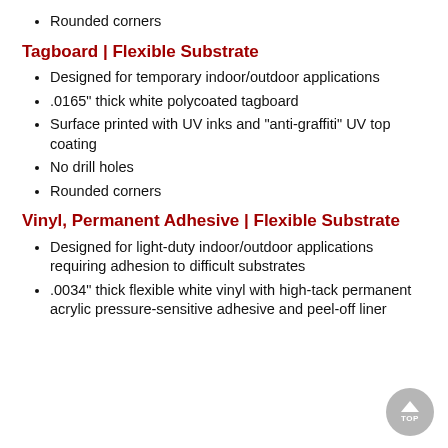Rounded corners
Tagboard | Flexible Substrate
Designed for temporary indoor/outdoor applications
.0165" thick white polycoated tagboard
Surface printed with UV inks and "anti-graffiti" UV top coating
No drill holes
Rounded corners
Vinyl, Permanent Adhesive | Flexible Substrate
Designed for light-duty indoor/outdoor applications requiring adhesion to difficult substrates
.0034" thick flexible white vinyl with high-tack permanent acrylic pressure-sensitive adhesive and peel-off liner